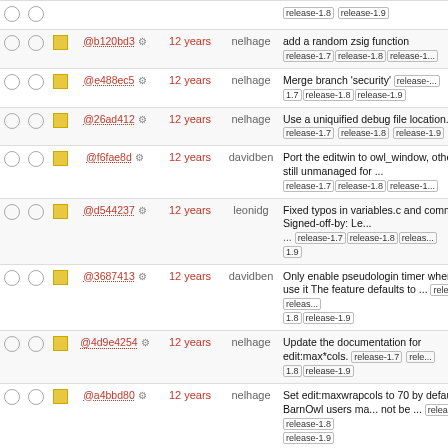|  |  |  | hash | age | author | message |
| --- | --- | --- | --- | --- | --- | --- |
|  |  |  | @b120bd3 | 12 years | nelhage | add a random zsig function release-1.7 release-1.8 release-1... |
|  |  |  | @e488ec5 | 12 years | nelhage | Merge branch 'security' release-1.7 release-1.8 release-1.9 |
|  |  |  | @26ad412 | 12 years | nelhage | Use a uniquified debug file location. release-1.7 release-1.8 release-1.9 |
|  |  |  | @f6fae8d | 12 years | davidben | Port the editwin to owl_window, others are still unmanaged for ... release-1.7 release-1.8 release-1... |
|  |  |  | @d544237 | 12 years | leonidg | Fixed typos in variables.c and commands.c Signed-off-by: Le... ... release-1.7 release-1.8 release-... 1.9 |
|  |  |  | @3687413 | 12 years | davidben | Only enable pseudologin timer when we use it The feature defaults to ... release-1.7 release-... 1.8 release-1.9 |
|  |  |  | @4d9e4254 | 12 years | nelhage | Update the documentation for edit:max*cols. release-1.7 rele... 1.8 release-1.9 |
|  |  |  | @a4bbd80 | 12 years | nelhage | Set edit:maxwrapcols to 70 by default. New BarnOwl users ma... not be ... release-1.7 release-1.8 release-1.9 |
|  |  |  | @f92acd7 | 12 years | davidben | Only relayout on widget resizes, needn't compute a new window size ... release-1.7 release-1.8 release-1.9 |
|  |  |  |  |  |  | Add the "narrow-related" variab... This controls whether narrowing... |